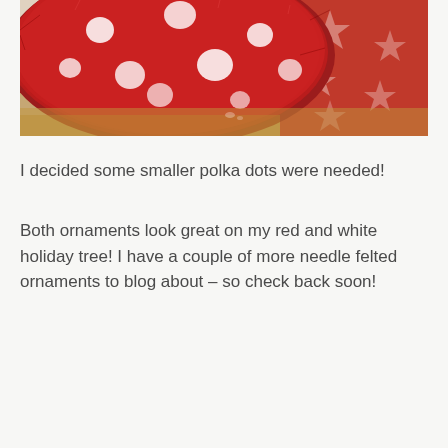[Figure (photo): Close-up photo of a red needle-felted ornament with white polka dots, partially visible against a background with a red and white patterned fabric or wrapping paper. The ornament has a fuzzy, woolly texture. A wooden surface is visible beneath.]
I decided some smaller polka dots were needed!
Both ornaments look great on my red and white holiday tree! I have a couple of more needle felted ornaments to blog about – so check back soon!